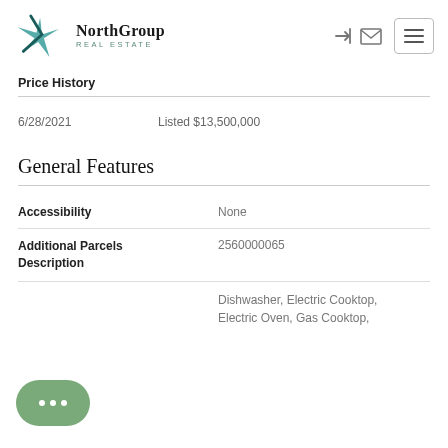[Figure (logo): NorthGroup Real Estate logo with teal star/compass icon and company name]
Price History
| Date | Event |
| --- | --- |
| 6/28/2021 | Listed $13,500,000 |
General Features
| Feature | Value |
| --- | --- |
| Accessibility | None |
| Additional Parcels Description | 2560000065 |
|  | Dishwasher, Electric Cooktop, Electric Oven, Gas Cooktop, |